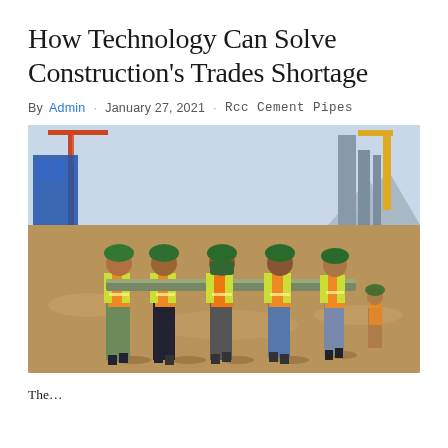How Technology Can Solve Construction's Trades Shortage
By Admin · January 27, 2021 · Rcc Cement Pipes
[Figure (photo): Construction workers wearing orange high-visibility vests and green hard hats, viewed from behind, carrying a long beam across a dirt construction site with cranes and industrial structures in the background.]
The...